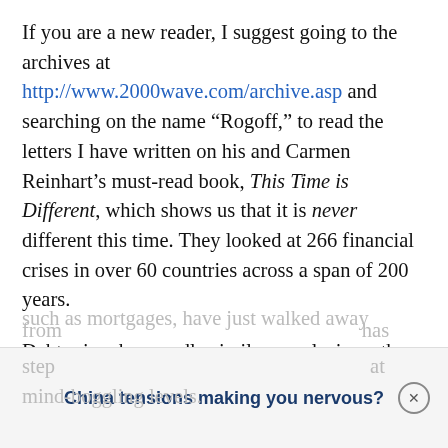If you are a new reader, I suggest going to the archives at http://www.2000wave.com/archive.asp and searching on the name “Rogoff,” to read the letters I have written on his and Carmen Reinhart’s must-read book, This Time is Different, which shows us that it is never different this time. They looked at 266 financial crises in over 60 countries across a span of 200 years.
Debt crises have sadly similar conclusions: they always end in pain and tears. And although we have stopped, as private citizens, from accumulating debt (or in some cases, such as mortgages, have just walked away from [it], government has stepped [in] at mind-boggling levels.
China tensions making you nervous?